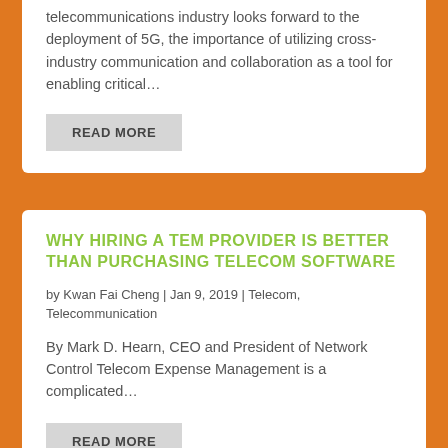telecommunications industry looks forward to the deployment of 5G, the importance of utilizing cross-industry communication and collaboration as a tool for enabling critical…
READ MORE
WHY HIRING A TEM PROVIDER IS BETTER THAN PURCHASING TELECOM SOFTWARE
by Kwan Fai Cheng | Jan 9, 2019 | Telecom, Telecommunication
By Mark D. Hearn, CEO and President of Network Control Telecom Expense Management is a complicated…
READ MORE